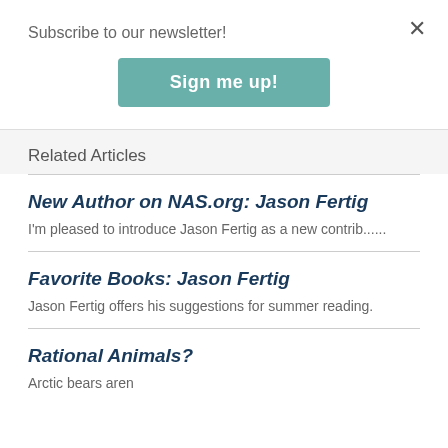Subscribe to our newsletter!
[Figure (other): Teal 'Sign me up!' button]
Related Articles
New Author on NAS.org: Jason Fertig
I'm pleased to introduce Jason Fertig as a new contrib......
Favorite Books: Jason Fertig
Jason Fertig offers his suggestions for summer reading.
Rational Animals?
Arctic bears aren